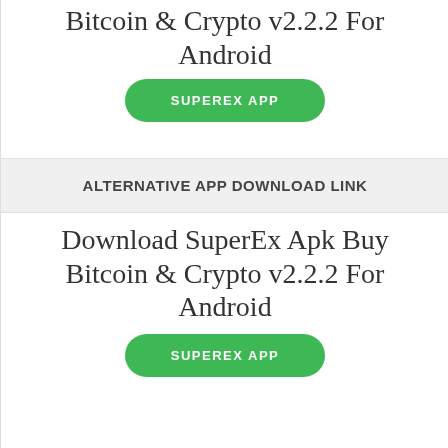Bitcoin & Crypto v2.2.2 For Android
SUPEREX APP
ALTERNATIVE APP DOWNLOAD LINK
Download SuperEx Apk Buy Bitcoin & Crypto v2.2.2 For Android
SUPEREX APP